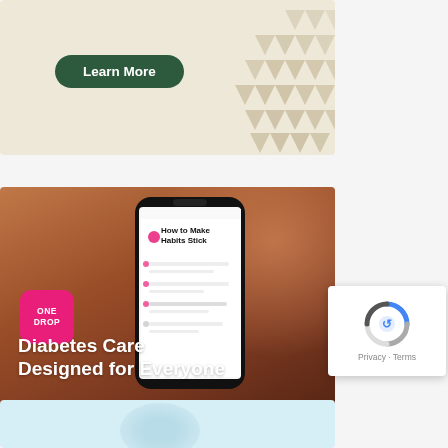[Figure (illustration): Top banner with dark green 'Learn More' button on beige/cream background with decorative triangle pattern on right side]
[Figure (photo): One Drop diabetes care advertisement showing a person holding a smartphone displaying 'How to Make Habits Stick' screen. One Drop logo (pink square) in lower left. White bold text reads 'Diabetes Care Designed for Everyone' with pink 'Learn more ▸' link below. Background is warm brown/wood tones.]
[Figure (illustration): Bottom partial banner with light blue background, partially visible]
[Figure (other): Google reCAPTCHA widget showing spinning logo and 'Privacy · Terms' text]